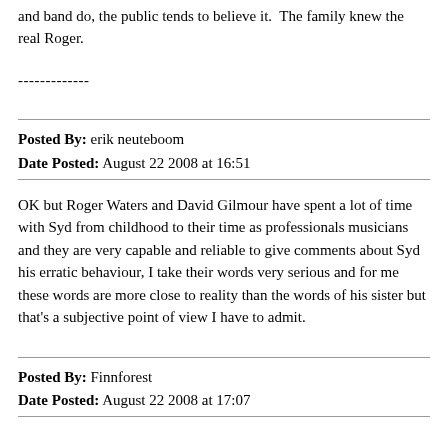and band do, the public tends to believe it.  The family knew the real Roger.
-------------
Posted By: erik neuteboom
Date Posted: August 22 2008 at 16:51
OK but Roger Waters and David Gilmour have spent a lot of time with Syd from childhood to their time as professionals musicians and they are very capable and reliable to give comments about Syd his erratic behaviour, I take their words very serious and for me these words are more close to reality than the words of his sister but that's a subjective point of view I have to admit.
Posted By: Finnforest
Date Posted: August 22 2008 at 17:07